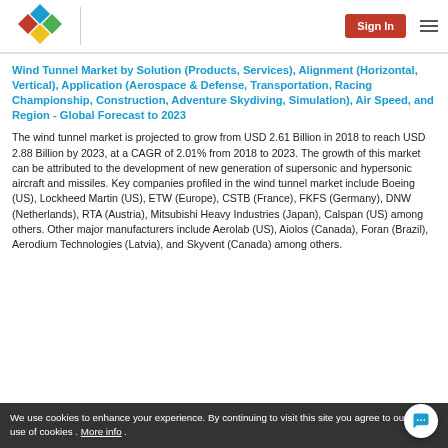[Figure (logo): Colorful diamond-shape logo with blue, red, green, yellow diamonds]
Sign In
Wind Tunnel Market by Solution (Products, Services), Alignment (Horizontal, Vertical), Application (Aerospace & Defense, Transportation, Racing Championship, Construction, Adventure Skydiving, Simulation), Air Speed, and Region - Global Forecast to 2023
The wind tunnel market is projected to grow from USD 2.61 Billion in 2018 to reach USD 2.88 Billion by 2023, at a CAGR of 2.01% from 2018 to 2023. The growth of this market can be attributed to the development of new generation of supersonic and hypersonic aircraft and missiles. Key companies profiled in the wind tunnel market include Boeing (US), Lockheed Martin (US), ETW (Europe), CSTB (France), FKFS (Germany), DNW (Netherlands), RTA (Austria), Mitsubishi Heavy Industries (Japan), Calspan (US) among others. Other major manufacturers include Aerolab (US), Aiolos (Canada), Foran (Brazil), Aerodium Technologies (Latvia), and Skyvent (Canada) among others.
We use cookies to enhance your experience. By continuing to visit this site you agree to our use of cookies . More info.